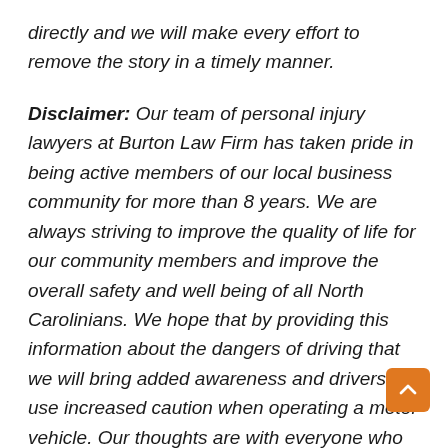directly and we will make every effort to remove the story in a timely manner.
Disclaimer: Our team of personal injury lawyers at Burton Law Firm has taken pride in being active members of our local business community for more than 8 years. We are always striving to improve the quality of life for our community members and improve the overall safety and well being of all North Carolinians. We hope that by providing this information about the dangers of driving that we will bring added awareness and drivers will use increased caution when operating a motor vehicle. Our thoughts are with everyone who may have been affected by this incident. This post is not a solicitation for business. None of the information in this post should be misconstrued as medical or legal advice. The photos in this post are not